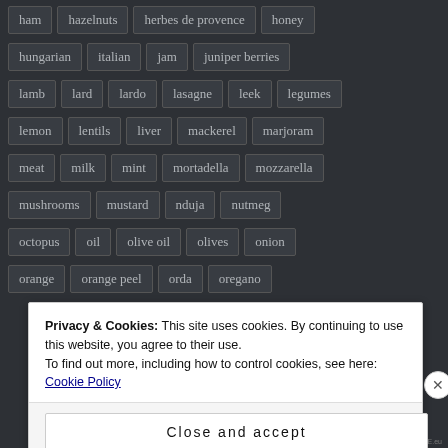ham, hazelnuts, herbes de provence, honey
hungarian, italian, jam, juniper berries
lamb, lard, lardo, lasagne, leek, legumes
lemon, lentils, liver, mackerel, marjoram
meat, milk, mint, mortadella, mozzarella
mushrooms, mustard, nduja, nutmeg
octopus, oil, olive oil, olives, onion
orange, orange peel, orda, oregano
Privacy & Cookies: This site uses cookies. By continuing to use this website, you agree to their use.
To find out more, including how to control cookies, see here: Cookie Policy
Close and accept